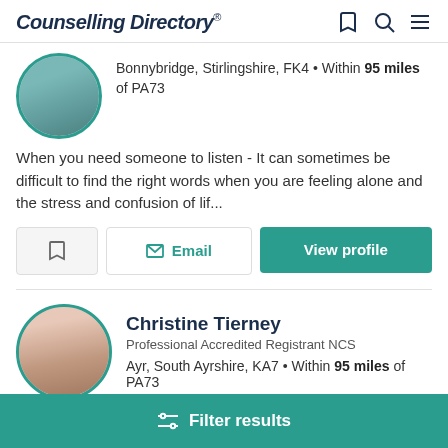Counselling Directory
Bonnybridge, Stirlingshire, FK4 • Within 95 miles of PA73
When you need someone to listen - It can sometimes be difficult to find the right words when you are feeling alone and the stress and confusion of lif...
Email | View profile
Christine Tierney
Professional Accredited Registrant NCS
Ayr, South Ayrshire, KA7 • Within 95 miles of PA73
Filter results